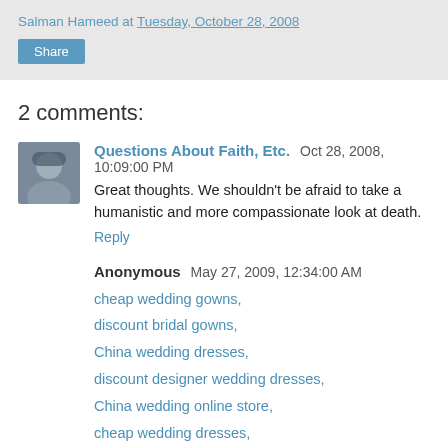Salman Hameed at Tuesday, October 28, 2008
Share
2 comments:
[Figure (photo): Avatar photo of commenter Questions About Faith, Etc. — person wearing cap]
Questions About Faith, Etc.  Oct 28, 2008, 10:09:00 PM
Great thoughts. We shouldn't be afraid to take a humanistic and more compassionate look at death.
Reply
Anonymous  May 27, 2009, 12:34:00 AM
cheap wedding gowns,
discount bridal gowns,
China wedding dresses,
discount designer wedding dresses,
China wedding online store,
cheap wedding dresses,